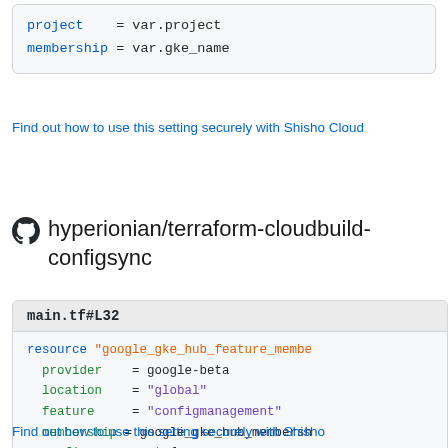[Figure (screenshot): Code block showing: project = var.project  and  membership = var.gke_name]
Find out how to use this setting securely with Shisho Cloud
hyperionian/terraform-cloudbuild-configsync
[Figure (screenshot): Code block with header main.tf#L32 showing Terraform resource definition: resource "google_gke_hub_feature_membe...  provider = google-beta  location = "global"  feature = "configmanagement"  membership = google_gke_hub_membersh...  configmanagement {]
Find out how to use this setting securely with Shisho